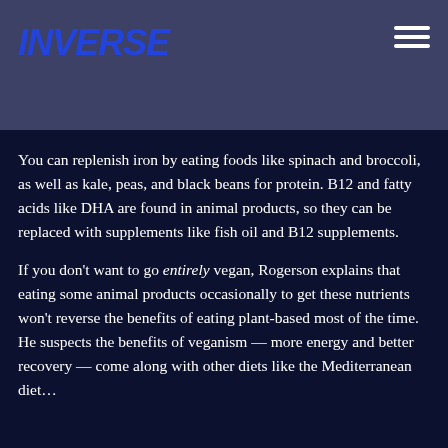INVERSE
You can replenish iron by eating foods like spinach and broccoli, as well as kale, peas, and black beans for protein. B12 and fatty acids like DHA are found in animal products, so they can be replaced with supplements like fish oil and B12 supplements.
If you don't want to go entirely vegan, Rogerson explains that eating some animal products occasionally to get these nutrients won't reverse the benefits of eating plant-based most of the time. He suspects the benefits of veganism — more energy and better recovery — come along with other diets like the Mediterranean diet…